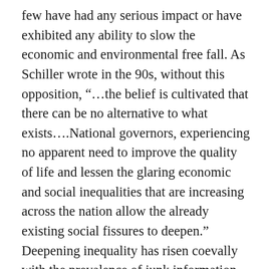few have had any serious impact or have exhibited any ability to slow the economic and environmental free fall. As Schiller wrote in the 90s, without this opposition, “…the belief is cultivated that there can be no alternative to what exists….National governors, experiencing no apparent need to improve the quality of life and lessen the glaring economic and social inequalities that are increasing across the nation allow the already existing social fissures to deepen.” Deepening inequality has risen coevally with the prevalence of junk information. The airwaves are still, to some extent a public good—with the exception of the large chunks auctioned off to private interests for a pittance. The corporate elites and their